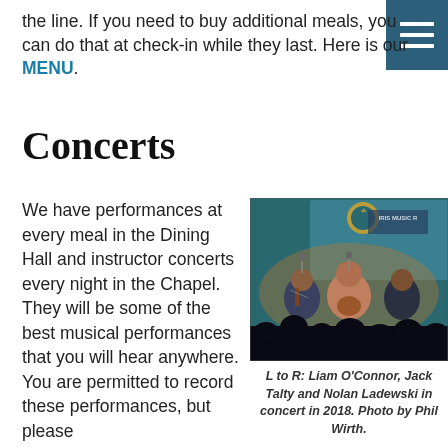the line. If you need to buy additional meals, you can do that at check-in while they last. Here is our MENU.
Concerts
We have performances at every meal in the Dining Hall and instructor concerts every night in the Chapel. They will be some of the best musical performances that you will hear anywhere. You are permitted to record these performances, but please
[Figure (photo): Concert photo showing three musicians performing on stage. L to R: Liam O'Connor, Jack Talty and Nolan Ladewski performing at O'Flaherty Irish Music Retreat in 2018.]
L to R: Liam O'Connor, Jack Talty and Nolan Ladewski in concert in 2018. Photo by Phil Wirth.